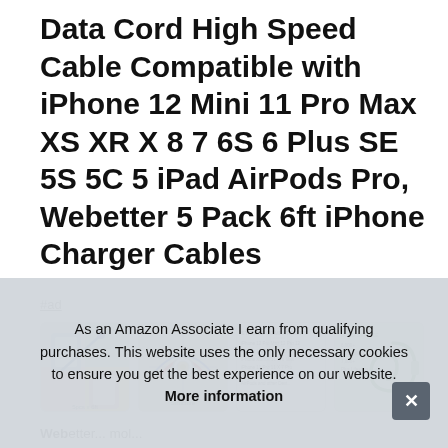Data Cord High Speed Cable Compatible with iPhone 12 Mini 11 Pro Max XS XR X 8 7 6S 6 Plus SE 5S 5C 5 iPad AirPods Pro, Webetter 5 Pack 6ft iPhone Charger Cables
#ad
[Figure (photo): Four product thumbnail images showing colorful iPhone cables and packaging]
Webetter ... mol... bending cycles, but also prevents the case from falling off
As an Amazon Associate I earn from qualifying purchases. This website uses the only necessary cookies to ensure you get the best experience on our website. More information